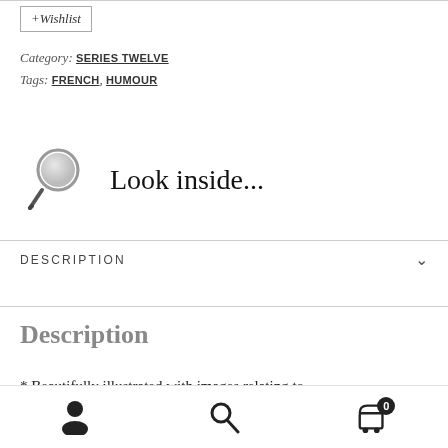+Wishlist
Category: SERIES TWELVE
Tags: FRENCH, HUMOUR
[Figure (illustration): Magnifying glass icon followed by Look inside... text link]
DESCRIPTION
Description
* Beautifully illustrated with images relating to
Footer navigation bar with user account, search, and cart (0) icons